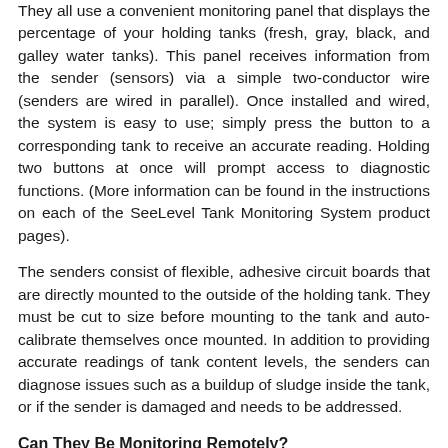They all use a convenient monitoring panel that displays the percentage of your holding tanks (fresh, gray, black, and galley water tanks). This panel receives information from the sender (sensors) via a simple two-conductor wire (senders are wired in parallel). Once installed and wired, the system is easy to use; simply press the button to a corresponding tank to receive an accurate reading. Holding two buttons at once will prompt access to diagnostic functions. (More information can be found in the instructions on each of the SeeLevel Tank Monitoring System product pages).
The senders consist of flexible, adhesive circuit boards that are directly mounted to the outside of the holding tank. They must be cut to size before mounting to the tank and auto-calibrate themselves once mounted. In addition to providing accurate readings of tank content levels, the senders can diagnose issues such as a buildup of sludge inside the tank, or if the sender is damaged and needs to be addressed.
Can They Be Monitoring Remotely?
Some SeeLevel Tank Monitoring Systems are Bluetooth compatible and do not require you to be in front of the panel to access tank readings or diagnostic information. Using an